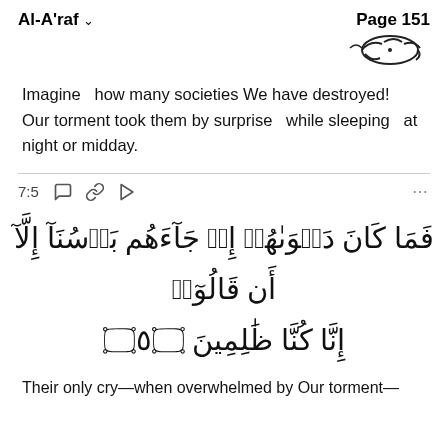Al-A'raf   Page 151
[Figure (illustration): Arabic calligraphic text/logo at top right]
Imagine   how many societies We have destroyed! Our torment took them by surprise   while sleeping   at night or midday.
7:5  [icons: comment, link, play]  ...
فَمَا كَانَ دَعْوَىٰهُمْ إِذْ جَاءَهُم بَأْسُنَآ إِلَّآ أَن قَالُوٓا۟ إِنَّا كُنَّا ظَٰلِمِينَ ٥
Their only cry—when overwhelmed by Our torment—